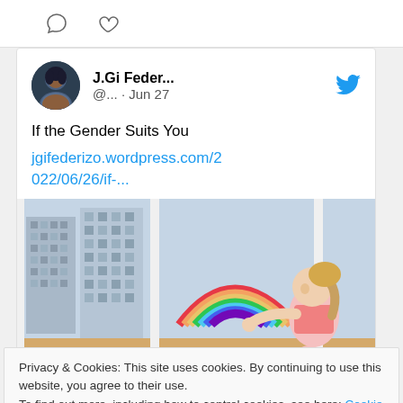[Figure (screenshot): Top strip with comment and like icons (speech bubble and heart outline)]
J.Gi Feder... @... · Jun 27
If the Gender Suits You
jgifederizo.wordpress.com/2022/06/26/if-...
[Figure (photo): A young girl sitting at a window, touching a rainbow painted on the glass, with buildings visible outside.]
Privacy & Cookies: This site uses cookies. By continuing to use this website, you agree to their use.
To find out more, including how to control cookies, see here: Cookie Policy
Close and accept